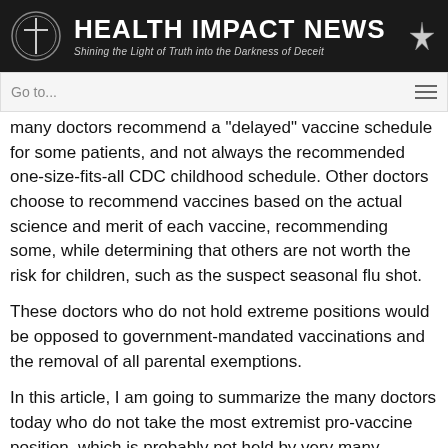[Figure (logo): Health Impact News logo with cross symbol and star on dark background, subtitle: Shining the Light of Truth into the Darkness of Deceit]
Go to...
many doctors recommend a "delayed" vaccine schedule for some patients, and not always the recommended one-size-fits-all CDC childhood schedule. Other doctors choose to recommend vaccines based on the actual science and merit of each vaccine, recommending some, while determining that others are not worth the risk for children, such as the suspect seasonal flu shot.
These doctors who do not hold extreme positions would be opposed to government-mandated vaccinations and the removal of all parental exemptions.
In this article, I am going to summarize the many doctors today who do not take the most extremist pro-vaccine position, which is probably not held by very many doctors at all, in spite of what the pharmaceutical industry, the federal government, and the mainstream media would like the